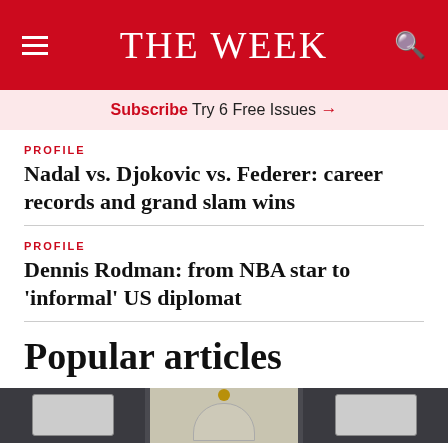THE WEEK
Subscribe Try 6 Free Issues →
PROFILE
Nadal vs. Djokovic vs. Federer: career records and grand slam wins
PROFILE
Dennis Rodman: from NBA star to 'informal' US diplomat
Popular articles
[Figure (photo): Partial view of a building exterior with brick wall and decorative arch/doorway with gold ornament]